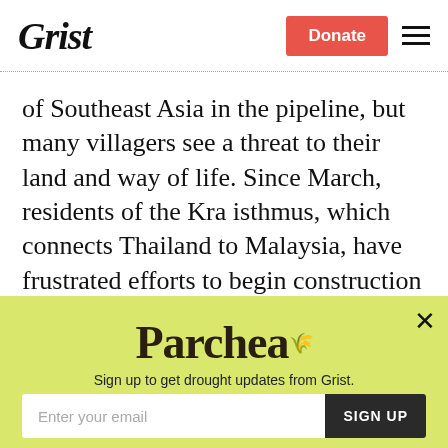Grist — Donate
of Southeast Asia in the pipeline, but many villagers see a threat to their land and way of life. Since March, residents of the Kra isthmus, which connects Thailand to Malaysia, have frustrated efforts to begin construction of the pipeline by setting up blockades and convening lectures on energy
[Figure (screenshot): Parchea newsletter signup modal with yellow-green background, Parchea logo, tagline 'Sign up to get drought updates from Grist.', email input field, SIGN UP button, and No thanks link]
Sign up to get drought updates from Grist.
No thanks